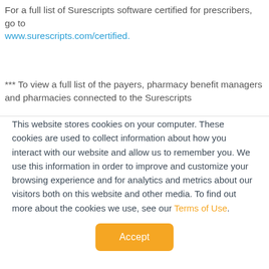For a full list of Surescripts software certified for prescribers, go to www.surescripts.com/certified.
*** To view a full list of the payers, pharmacy benefit managers and pharmacies connected to the Surescripts
This website stores cookies on your computer. These cookies are used to collect information about how you interact with our website and allow us to remember you. We use this information in order to improve and customize your browsing experience and for analytics and metrics about our visitors both on this website and other media. To find out more about the cookies we use, see our Terms of Use.
Accept